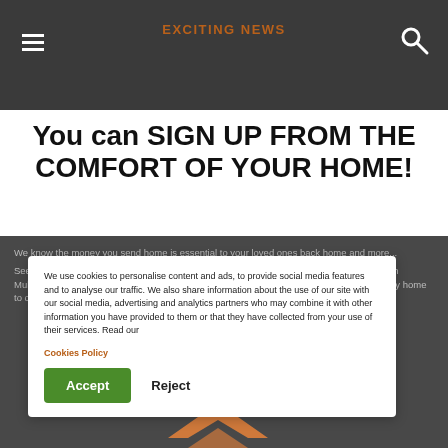EXCITING NEWS
You can SIGN UP FROM THE COMFORT OF YOUR HOME!
We know the money you send home is essential to your loved ones back home and more...
We use cookies to personalise content and ads, to provide social media features and to analyse our traffic. We also share information about the use of our site with our social media, advertising and analytics partners who may combine it with other information you have provided to them or that they have collected from your use of their services. Read our Cookies Policy
See below how simple it is to sign up for your first money send! Once you've registered with Mukuru, you'll be able to send upto R2000 the same day. So sign-up today and send money home to over 20 countries in Africa and Asia.
Sign up via WhatsApp